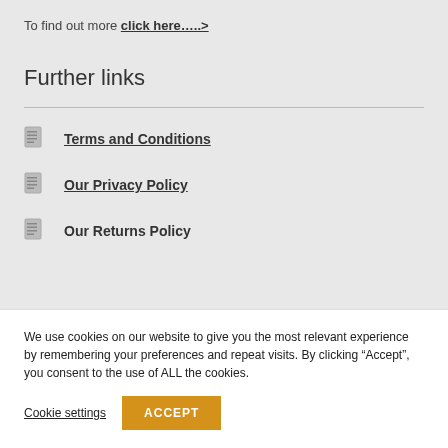To find out more click here…..>
Further links
Terms and Conditions
Our Privacy Policy
Our Returns Policy
We use cookies on our website to give you the most relevant experience by remembering your preferences and repeat visits. By clicking "Accept", you consent to the use of ALL the cookies.
Cookie settings  ACCEPT